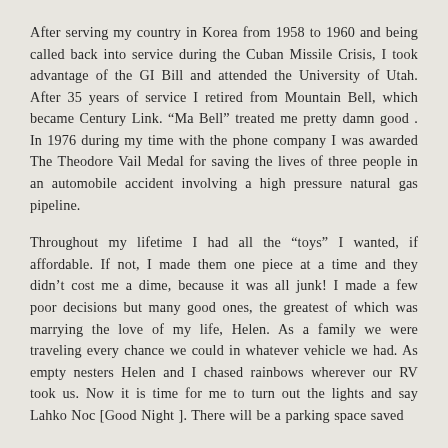After serving my country in Korea from 1958 to 1960 and being called back into service during the Cuban Missile Crisis, I took advantage of the GI Bill and attended the University of Utah. After 35 years of service I retired from Mountain Bell, which became Century Link. "Ma Bell" treated me pretty damn good . In 1976 during my time with the phone company I was awarded The Theodore Vail Medal for saving the lives of three people in an automobile accident involving a high pressure natural gas pipeline.
Throughout my lifetime I had all the "toys" I wanted, if affordable. If not, I made them one piece at a time and they didn't cost me a dime, because it was all junk! I made a few poor decisions but many good ones, the greatest of which was marrying the love of my life, Helen. As a family we were traveling every chance we could in whatever vehicle we had. As empty nesters Helen and I chased rainbows wherever our RV took us. Now it is time for me to turn out the lights and say Lahko Noc [Good Night ]. There will be a parking space saved